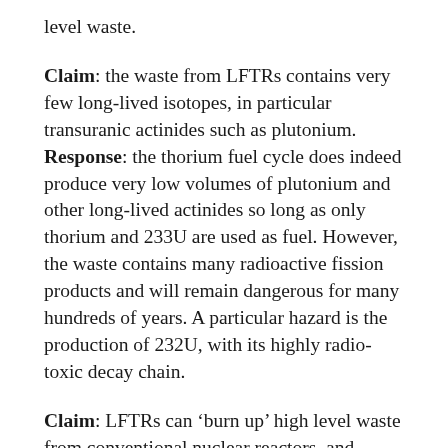level waste.
Claim: the waste from LFTRs contains very few long-lived isotopes, in particular transuranic actinides such as plutonium.
Response: the thorium fuel cycle does indeed produce very low volumes of plutonium and other long-lived actinides so long as only thorium and 233U are used as fuel. However, the waste contains many radioactive fission products and will remain dangerous for many hundreds of years. A particular hazard is the production of 232U, with its highly radio-toxic decay chain.
Claim: LFTRs can ‘burn up’ high level waste from conventional nuclear reactors, and